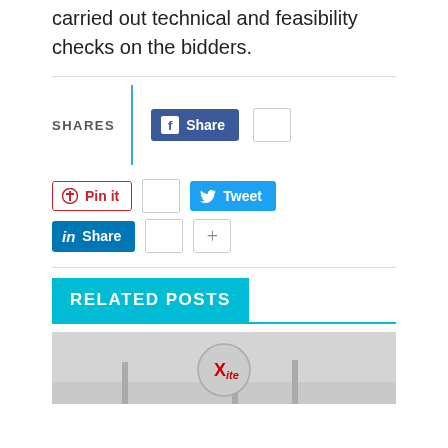carried out technical and feasibility checks on the bidders.
[Figure (screenshot): Social sharing buttons section with SHARES label, vertical cyan divider, Facebook Share button with count box, Pinterest Pin it button with count box, Twitter Tweet button, LinkedIn Share button with count box, and a plus button]
RELATED POSTS
[Figure (photo): Partial thumbnail image with X logo circle in the center on a grey background]